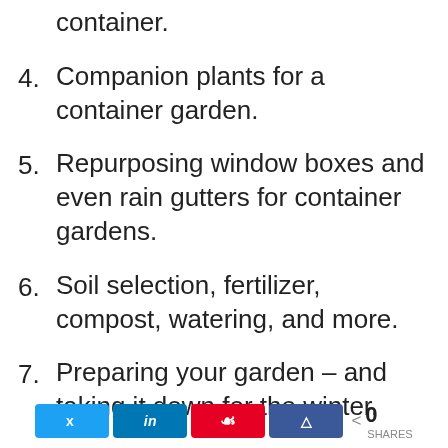container.
4. Companion plants for a container garden.
5. Repurposing window boxes and even rain gutters for container gardens.
6. Soil selection, fertilizer, compost, watering, and more.
7. Preparing your garden – and taking it down for the winter.
Share buttons: Twitter, LinkedIn, Pinterest, Facebook | 0 SHARES